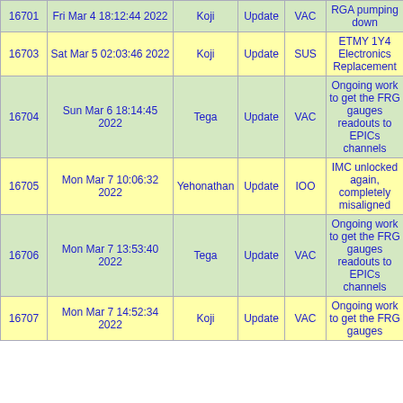| ID | Date/Time | Author | Type | Category | Subject |
| --- | --- | --- | --- | --- | --- |
| 16701 | Fri Mar 4 18:12:44 2022 | Koji | Update | VAC | RGA pumping down |
| 16703 | Sat Mar 5 02:03:46 2022 | Koji | Update | SUS | ETMY 1Y4 Electronics Replacement |
| 16704 | Sun Mar 6 18:14:45 2022 | Tega | Update | VAC | Ongoing work to get the FRG gauges readouts to EPICs channels |
| 16705 | Mon Mar 7 10:06:32 2022 | Yehonathan | Update | IOO | IMC unlocked again, completely misaligned |
| 16706 | Mon Mar 7 13:53:40 2022 | Tega | Update | VAC | Ongoing work to get the FRG gauges readouts to EPICs channels |
| 16707 | Mon Mar 7 14:52:34 2022 | Koji | Update | VAC | Ongoing work to get the FRG gauges |